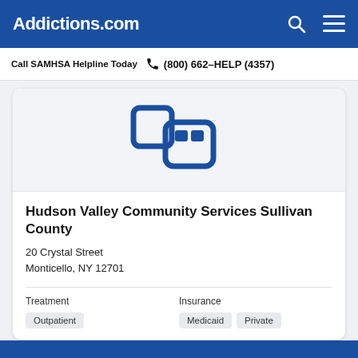Addictions.com
Call SAMHSA Helpline Today  (800) 662-HELP (4357)
[Figure (logo): Addictions.com facility placeholder logo — blue rounded square icon with stylized person/building silhouette]
Hudson Valley Community Services Sullivan County
20 Crystal Street
Monticello, NY 12701
Treatment
Outpatient
Insurance
Medicaid  Private